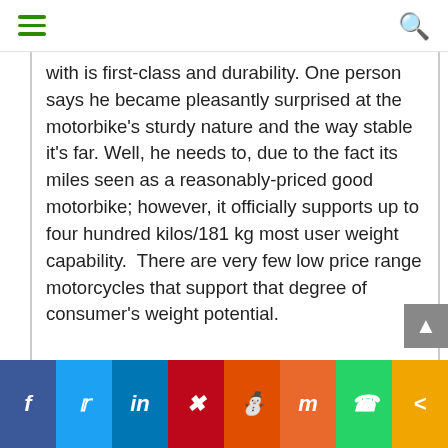Navigation bar with hamburger menu and search icon
with is first-class and durability. One person says he became pleasantly surprised at the motorbike's sturdy nature and the way stable it's far. Well, he needs to, due to the fact its miles seen as a reasonably-priced good motorbike; however, it officially supports up to four hundred kilos/181 kg most user weight capability.  There are very few low price range motorcycles that support that degree of consumer's weight potential.
We honestly suppose that the exerpeutic gold heavy duty foldable exercise bike genuinely made to provide decent exercises that would, in the end, help you to shed pounds, enhance bodily fitness or essential fitness preservation.
Social share bar: Facebook, Twitter, LinkedIn, Pinterest, Reddit, Mix, WhatsApp, Share